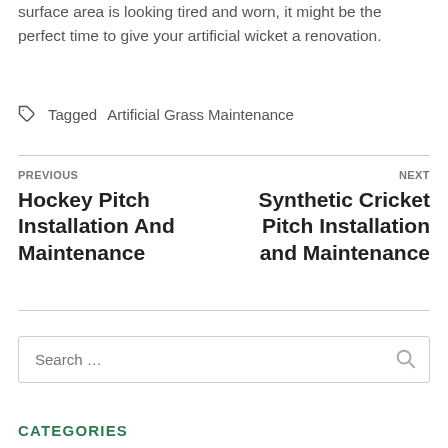surface area is looking tired and worn, it might be the perfect time to give your artificial wicket a renovation.
Tagged Artificial Grass Maintenance
PREVIOUS
Hockey Pitch Installation And Maintenance
NEXT
Synthetic Cricket Pitch Installation and Maintenance
Search …
CATEGORIES